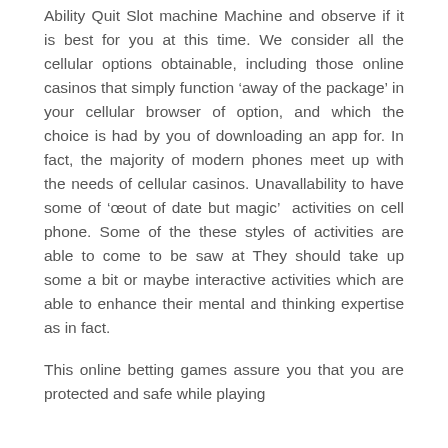Ability Quit Slot machine Machine and observe if it is best for you at this time. We consider all the cellular options obtainable, including those online casinos that simply function ‘away of the package’ in your cellular browser of option, and which the choice is had by you of downloading an app for. In fact, the majority of modern phones meet up with the needs of cellular casinos. Unavallability to have some of ‘œout of date but magic’  activities on cell phone. Some of the these styles of activities are able to come to be saw at They should take up some a bit or maybe interactive activities which are able to enhance their mental and thinking expertise as in fact.
This online betting games assure you that you are protected and safe while playing